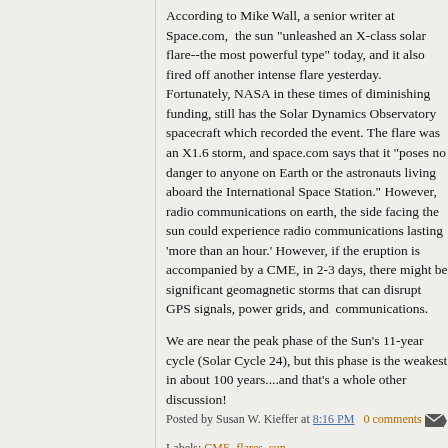According to Mike Wall, a senior writer at Space.com,  the sun "unleashed an X-class solar flare--the most powerful type" today, and it also fired off another intense flare yesterday. Fortunately, NASA in these times of diminishing funding, still has the Solar Dynamics Observatory spacecraft which recorded the event. The flare was an X1.6 storm, and space.com says that it "poses no danger to anyone on Earth or the astronauts living aboard the International Space Station." However, radio communications on earth, the side facing the sun could experience radio communications lasting 'more than an hour.' However, if the eruption is accompanied by a CME, in 2-3 days, there might be significant geomagnetic storms that can disrupt GPS signals, power grids, and  communications.
We are near the peak phase of the Sun's 11-year cycle (Solar Cycle 24), but this phase is the weakest in about 100 years....and that's a whole other discussion!
Posted by Susan W. Kieffer at 8:16 PM   0 comments
Labels: CME, flares, sun
Monday, September 8, 2014
Meteorite impact in Nicargua: brief report